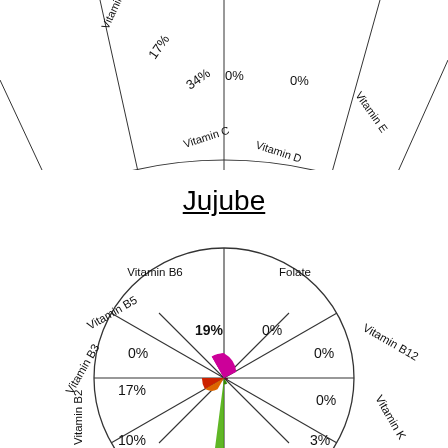[Figure (pie-chart): Partial top chart (cropped)]
Jujube
[Figure (radar-chart): Jujube vitamins radar chart]